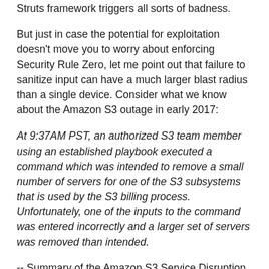Struts framework triggers all sorts of badness.
But just in case the potential for exploitation doesn't move you to worry about enforcing Security Rule Zero, let me point out that failure to sanitize input can have a much larger blast radius than a single device. Consider what we know about the Amazon S3 outage in early 2017:
At 9:37AM PST, an authorized S3 team member using an established playbook executed a command which was intended to remove a small number of servers for one of the S3 subsystems that is used by the S3 billing process. Unfortunately, one of the inputs to the command was entered incorrectly and a larger set of servers was removed than intended.
-- Summary of the Amazon S3 Service Disruption in the Northern Virginia (US-EAST-1) Region
The number he input to the script was much larger than he intended. But scripts that blindly accept whatever the operator offers (ignoring Security Rule Zero) are bound to